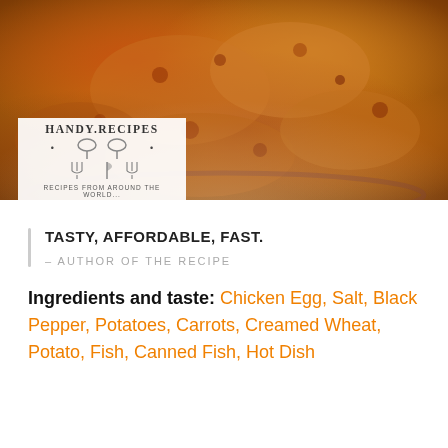[Figure (photo): Fried fish cakes or potato patties on a decorative plate, golden-brown and crispy, with HANDY.RECIPES logo overlay in bottom-left of image]
TASTY, AFFORDABLE, FAST.
– AUTHOR OF THE RECIPE
Ingredients and taste: Chicken Egg, Salt, Black Pepper, Potatoes, Carrots, Creamed Wheat, Potato, Fish, Canned Fish, Hot Dish